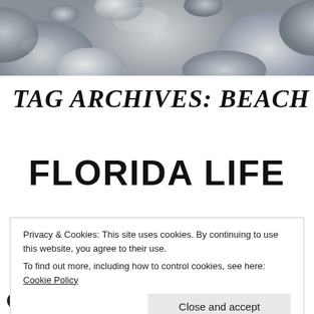[Figure (photo): Close-up photograph of smooth grey and white river rocks/pebbles filling the entire banner area]
TAG ARCHIVES: BEACH
FLORIDA LIFE
Privacy & Cookies: This site uses cookies. By continuing to use this website, you agree to their use.
To find out more, including how to control cookies, see here: Cookie Policy
Close and accept
Here are some highlights from the past week.